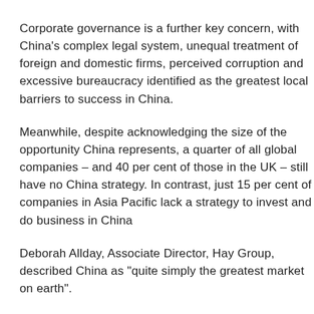Corporate governance is a further key concern, with China's complex legal system, unequal treatment of foreign and domestic firms, perceived corruption and excessive bureaucracy identified as the greatest local barriers to success in China.
Meanwhile, despite acknowledging the size of the opportunity China represents, a quarter of all global companies – and 40 per cent of those in the UK – still have no China strategy. In contrast, just 15 per cent of companies in Asia Pacific lack a strategy to invest and do business in China
Deborah Allday, Associate Director, Hay Group, described China as "quite simply the greatest market on earth".
"But with a quarter of global companies lacking a China strategy, whether they have the capability to make this happen remains to be seen. Global business leaders should put China top of the business agenda now, if they